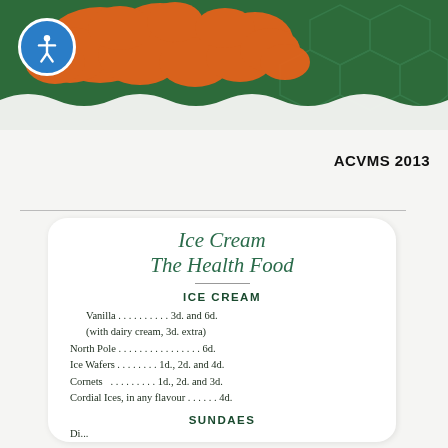[Figure (illustration): Top portion of a vintage ice cream advertisement with orange decorative floral/cloud motif on a dark green background with honeycomb pattern.]
ACVMS 2013
Ice Cream
The Health Food
ICE CREAM
Vanilla . . . . . . . . . . . 3d. and 6d.
(with dairy cream, 3d. extra)
North Pole . . . . . . . . . . . . . . . . 6d.
Ice Wafers . . . . . . . . . 1d., 2d. and 4d.
Cornets . . . . . . . . . 1d., 2d. and 3d.
Cordial Ices, in any flavour . . . . . . 4d.
SUNDAES